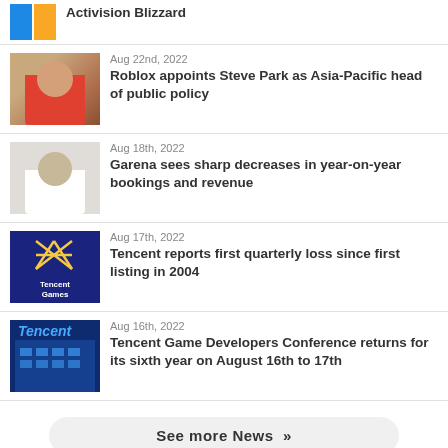Activision Blizzard
Aug 22nd, 2022 — Roblox appoints Steve Park as Asia-Pacific head of public policy
Aug 18th, 2022 — Garena sees sharp decreases in year-on-year bookings and revenue
Aug 17th, 2022 — Tencent reports first quarterly loss since first listing in 2004
Aug 16th, 2022 — Tencent Game Developers Conference returns for its sixth year on August 16th to 17th
See more News »
EVENTS
| Event | Region | Date |
| --- | --- | --- |
| Gamescom: Opening Night Live | Europe | Aug 23rd |
| CEDEC 2022 |  | Aug 23rd |
| Top 50 Mobile Game Makers 2022 reception | Europe | Aug 23rd |
| Big Indie Pitch at Metaverse Mixer Cologne | Europe | Aug 24th |